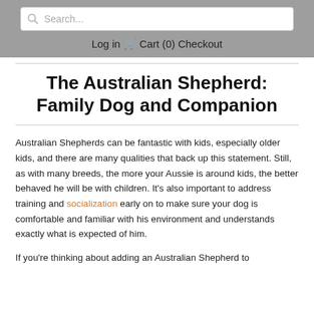Search... Log in Cart (0) Checkout
The Australian Shepherd: Family Dog and Companion
Australian Shepherds can be fantastic with kids, especially older kids, and there are many qualities that back up this statement. Still, as with many breeds, the more your Aussie is around kids, the better behaved he will be with children. It's also important to address training and socialization early on to make sure your dog is comfortable and familiar with his environment and understands exactly what is expected of him.
If you're thinking about adding an Australian Shepherd to